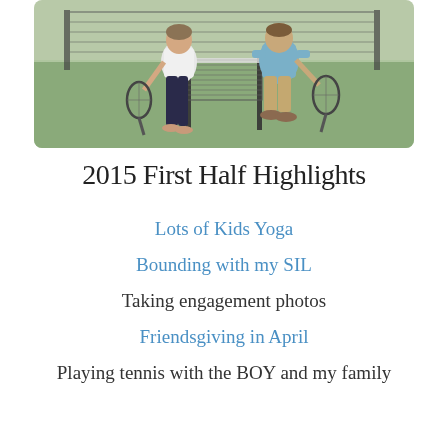[Figure (photo): Two people standing on a tennis court holding tennis rackets, meeting at the net. One person wears a white shirt and dark pants, the other wears a light blue long-sleeve shirt and khaki shorts.]
2015 First Half Highlights
Lots of Kids Yoga
Bounding with my SIL
Taking engagement photos
Friendsgiving in April
Playing tennis with the BOY and my family